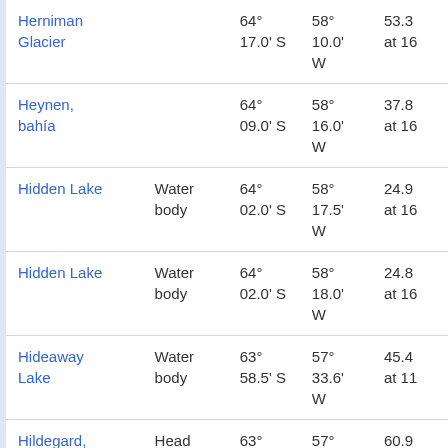| Name | Type | Latitude | Longitude | Elevation |
| --- | --- | --- | --- | --- |
| Herniman Glacier |  | 64° 17.0' S | 58° 10.0' W | 53.3 at 16 |
| Heynen, bahía |  | 64° 09.0' S | 58° 16.0' W | 37.8 at 16 |
| Hidden Lake | Water body | 64° 02.0' S | 58° 17.5' W | 24.9 at 16 |
| Hidden Lake | Water body | 64° 02.0' S | 58° 18.0' W | 24.8 at 16 |
| Hideaway Lake | Water body | 63° 58.5' S | 57° 33.6' W | 45.4 at 11 |
| Hildegard, Punta | Head | 63° 19.0' S | 57° 55.0' W | 60.9 at 24 |
| Hitar Petar Nunatak |  | 63° 58.0' S | 58° 42.2' W | 21.7 at 22 |
| Hobbs Glacier | Glacier | 64° 17.0' S | 57° 27.0' W | 70.0 at 13 |